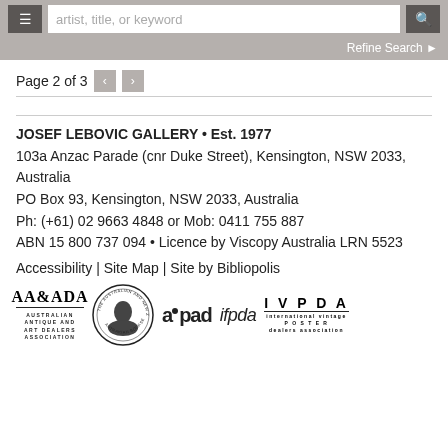artist, title, or keyword — search bar with menu and Refine Search
Page 2 of 3
JOSEF LEBOVIC GALLERY • Est. 1977
103a Anzac Parade (cnr Duke Street), Kensington, NSW 2033, Australia
PO Box 93, Kensington, NSW 2033, Australia
Ph: (+61) 02 9663 4848 or Mob: 0411 755 887
ABN 15 800 737 094 • Licence by Viscopy Australia LRN 5523
Accessibility | Site Map | Site by Bibliopolis
[Figure (logo): Association logos: AAaDA (Australian Antique and Art Dealers Association), Australian and New Zealand Antrakian Booksellers medallion, aipad, ifpda, IVPDA (international vintage poster dealers association)]